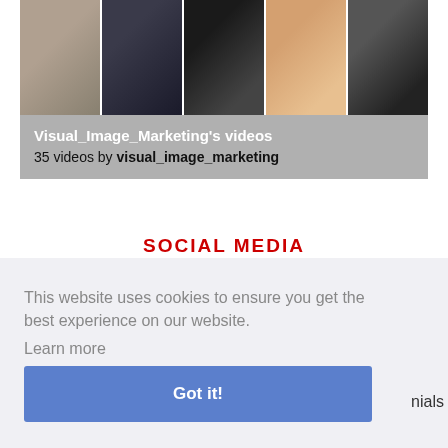[Figure (photo): A horizontal strip of 5 video thumbnail images showing various scenes including people, silhouettes, and a keyboard.]
Visual_Image_Marketing's videos
35 videos by visual_image_marketing
SOCIAL MEDIA
This website uses cookies to ensure you get the best experience on our website. Learn more
Got it!
nials
© 2022 indimusic.tv